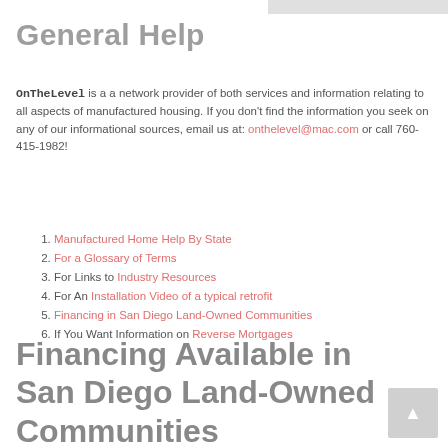General Help
OnTheLevel is a a network provider of both services and information relating to all aspects of manufactured housing. If you don't find the information you seek on any of our informational sources, email us at: onthelevel@mac.com or call 760-415-1982!
Manufactured Home Help By State
For a Glossary of Terms
For Links to Industry Resources
For An Installation Video of a typical retrofit
Financing in San Diego Land-Owned Communities
If You Want Information on Reverse Mortgages
Financing Available in San Diego Land-Owned Communities